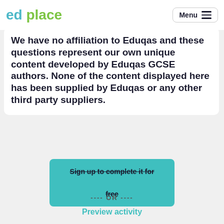ed place   Menu
We have no affiliation to Eduqas and these questions represent our own unique content developed by Eduqas GCSE authors. None of the content displayed here has been supplied by Eduqas or any other third party suppliers.
Sign up to complete it for free
---- OR ----
Preview activity